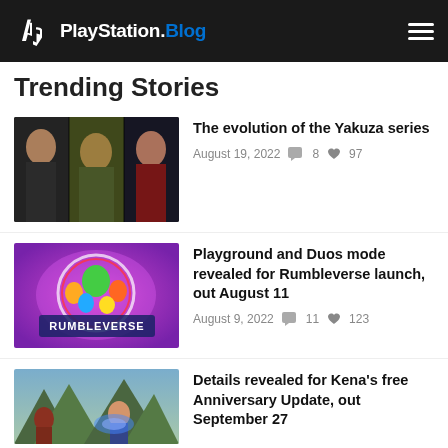PlayStation.Blog
Trending Stories
[Figure (photo): Yakuza series collage showing multiple characters from different games]
The evolution of the Yakuza series
August 19, 2022  8  97
[Figure (photo): Rumbleverse promotional art with cartoon characters and logo]
Playground and Duos mode revealed for Rumbleverse launch, out August 11
August 9, 2022  11  123
[Figure (photo): Kena Bridge of Spirits character in scenic mountain environment]
Details revealed for Kena's free Anniversary Update, out September 27